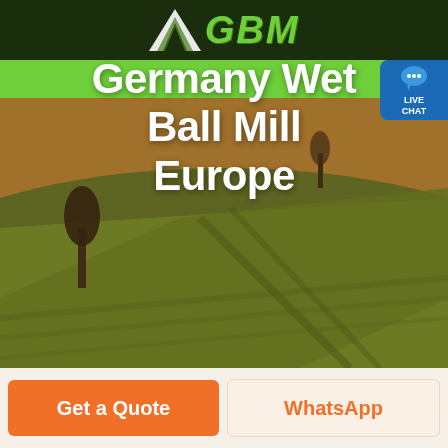GBM
[Figure (screenshot): Website navigation bar with green background and hamburger menu icon, with a blue Live Chat button on the right]
[Figure (photo): Aerial landscape photo of green and golden agricultural fields with a lone tree, used as hero background image]
Germany Wet Ball Mill Europe
Get a Quote
WhatsApp